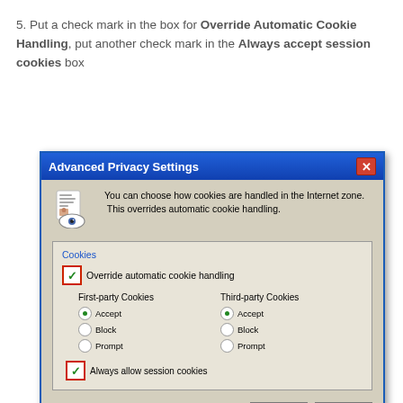5. Put a check mark in the box for Override Automatic Cookie Handling, put another check mark in the Always accept session cookies box
[Figure (screenshot): Windows XP Advanced Privacy Settings dialog box showing cookies options. The dialog has a blue title bar with 'Advanced Privacy Settings' and an X close button. The body shows an icon and text explaining cookie handling. A 'Cookies' group box contains a checked 'Override automatic cookie handling' checkbox (with red border highlight), columns for First-party Cookies and Third-party Cookies each with Accept (selected), Block, and Prompt radio buttons, and a checked 'Always allow session cookies' checkbox (with red border highlight). OK and Cancel buttons at bottom.]